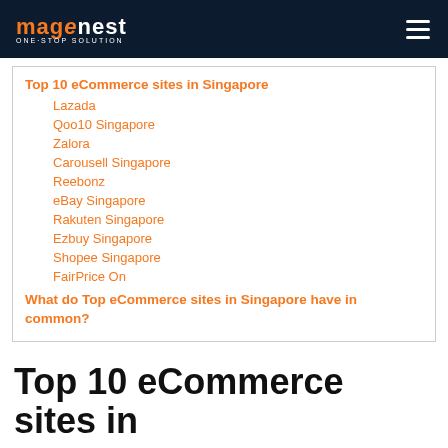magenest ONE-STOP SOLUTION
Top 10 eCommerce sites in Singapore
Lazada
Qoo10 Singapore
Zalora
Carousell Singapore
Reebonz
eBay Singapore
Rakuten Singapore
Ezbuy Singapore
Shopee Singapore
FairPrice On
What do Top eCommerce sites in Singapore have in common?
Top 10 eCommerce sites in